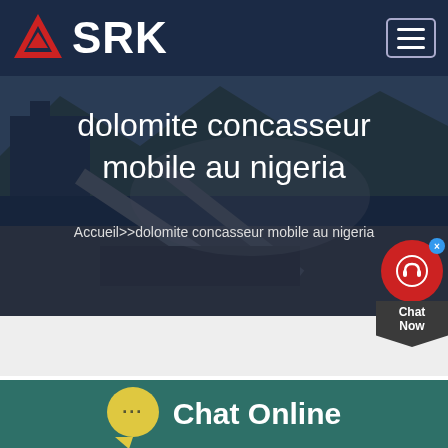SRK
dolomite concasseur mobile au nigeria
Accueil>>dolomite concasseur mobile au nigeria
[Figure (photo): Industrial mobile crushing/screening equipment at a quarry site with mountains in background, dust and conveyor belts visible]
Chat Online